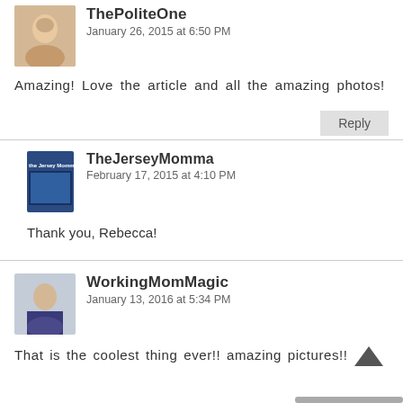ThePoliteOne
January 26, 2015 at 6:50 PM
Amazing! Love the article and all the amazing photos!
Reply
TheJerseyMomma
February 17, 2015 at 4:10 PM
Thank you, Rebecca!
WorkingMomMagic
January 13, 2016 at 5:34 PM
That is the coolest thing ever!! amazing pictures!!